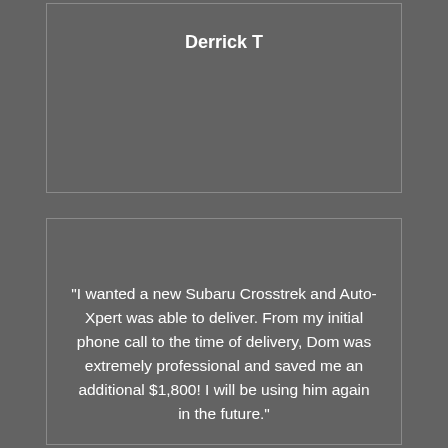Derrick T
“I wanted a new Subaru Crosstrek and Auto-Xpert was able to deliver. From my initial phone call to the time of delivery, Dom was extremely professional and saved me an additional $1,800! I will be using him again in the future.”